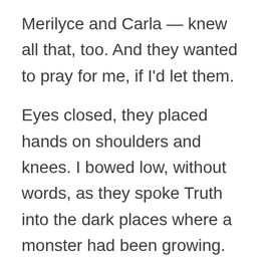Merilyce and Carla — knew all that, too. And they wanted to pray for me, if I'd let them.
Eyes closed, they placed hands on shoulders and knees. I bowed low, without words, as they spoke Truth into the dark places where a monster had been growing.
“Father God, we come before you today with our sister Jennifer …”